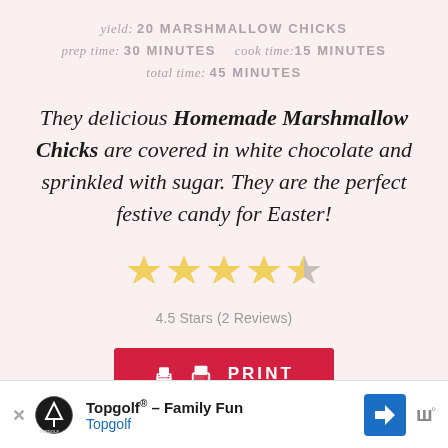yield: 20 MARSHMALLOW CHICKS
prep time: 30 MINUTES   cook time: 15 MINUTES
total time: 45 MINUTES
They delicious Homemade Marshmallow Chicks are covered in white chocolate and sprinkled with sugar. They are the perfect festive candy for Easter!
[Figure (other): 4.5 star rating display with 4 full yellow stars and 1 half-yellow half-grey star]
4.5 Stars (2 Reviews)
PRINT
Topgolf® – Family Fun  Topgolf  [advertisement]